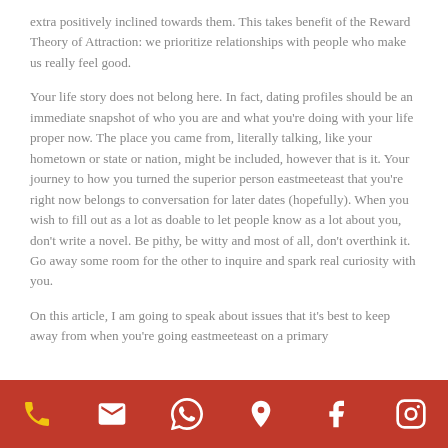extra positively inclined towards them. This takes benefit of the Reward Theory of Attraction: we prioritize relationships with people who make us really feel good.
Your life story does not belong here. In fact, dating profiles should be an immediate snapshot of who you are and what you're doing with your life proper now. The place you came from, literally talking, like your hometown or state or nation, might be included, however that is it. Your journey to how you turned the superior person eastmeeteast that you're right now belongs to conversation for later dates (hopefully). When you wish to fill out as a lot as doable to let people know as a lot about you, don't write a novel. Be pithy, be witty and most of all, don't overthink it. Go away some room for the other to inquire and spark real curiosity with you.
On this article, I am going to speak about issues that it's best to keep away from when you're going eastmeeteast on a primary
phone | email | whatsapp | location | facebook | instagram